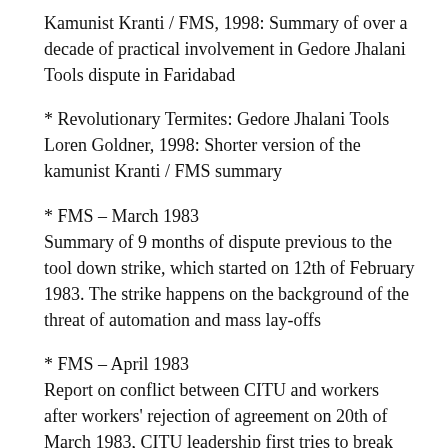Kamunist Kranti / FMS, 1998: Summary of over a decade of practical involvement in Gedore Jhalani Tools dispute in Faridabad
* Revolutionary Termites: Gedore Jhalani Tools Loren Goldner, 1998: Shorter version of the kamunist Kranti / FMS summary
* FMS – March 1983
Summary of 9 months of dispute previous to the tool down strike, which started on 12th of February 1983. The strike happens on the background of the threat of automation and mass lay-offs
* FMS – April 1983
Report on conflict between CITU and workers after workers' rejection of agreement on 20th of March 1983, CITU leadership first tries to break strike, then has to